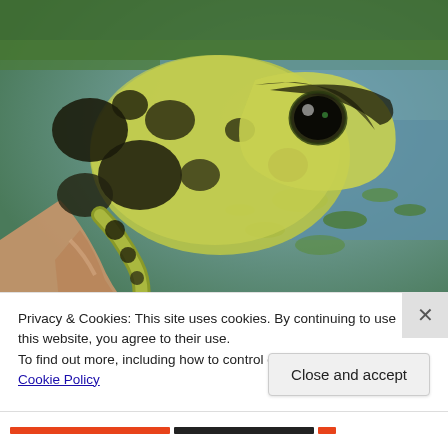[Figure (photo): Close-up photo of a pickerel frog (spotted/patterned frog with black spots on yellow-green skin) being held by a person's hand near a pond or wetland with green vegetation and water visible in the background.]
Privacy & Cookies: This site uses cookies. By continuing to use this website, you agree to their use.
To find out more, including how to control cookies, see here: Cookie Policy